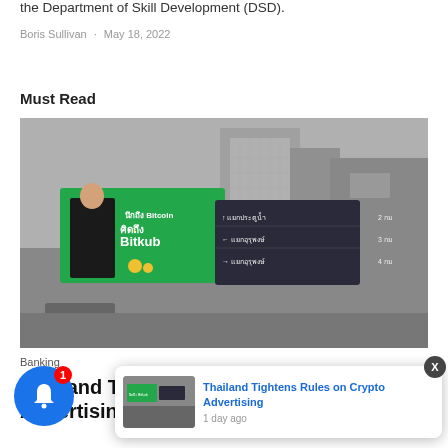the Department of Skill Development (DSD).
Boris Sullivan · May 18, 2022
Must Read
[Figure (photo): Street scene in Bangkok showing a large Bitkub cryptocurrency billboard advertisement on a building, with Thai street signs visible, in black and white with the billboard in color]
Banking
Thailand Tightens Rules on Crypto Advertising
[Figure (screenshot): Popup notification card showing 'Thailand Tightens Rules on Crypto Advertising' article with thumbnail image and '1 day ago' timestamp]
1 day ago